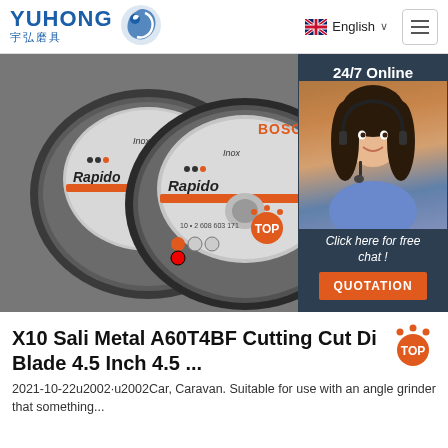YUHONG 宇弘磨具 | English | Menu
[Figure (photo): Two Bosch Rapido metal cutting discs overlapping, with a customer service agent overlay on the right side showing '24/7 Online', 'Click here for free chat!', and a QUOTATION button.]
X10 Sali Metal A60T4BF Cutting Cut Disc Blade 4.5 Inch 4.5 ...
2021-10-22u2002·u2002Car, Caravan. Suitable for use with an angle grinder that something...